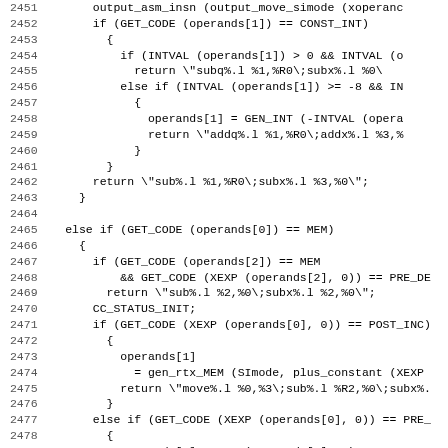[Figure (screenshot): Source code listing showing C code lines 2451-2482, a function dealing with assembly instruction output for various operand types including CONST_INT, MEM, POST_INC, and PRE_DEC cases.]